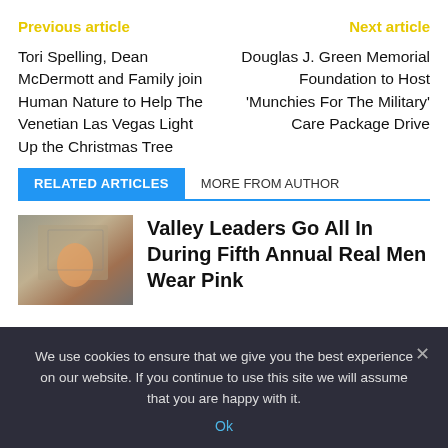Previous article
Next article
Tori Spelling, Dean McDermott and Family join Human Nature to Help The Venetian Las Vegas Light Up the Christmas Tree
Douglas J. Green Memorial Foundation to Host 'Munchies For The Military' Care Package Drive
RELATED ARTICLES   MORE FROM AUTHOR
Valley Leaders Go All In During Fifth Annual Real Men Wear Pink
We use cookies to ensure that we give you the best experience on our website. If you continue to use this site we will assume that you are happy with it.
Ok